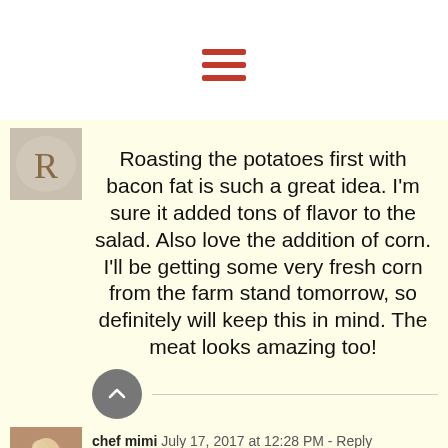[Figure (other): Hamburger/menu icon with three red horizontal lines on white background]
[Figure (photo): Small avatar image showing letter R on a circular plate/bowl background]
Roasting the potatoes first with bacon fat is such a great idea. I'm sure it added tons of flavor to the salad. Also love the addition of corn. I'll be getting some very fresh corn from the farm stand tomorrow, so definitely will keep this in mind. The meat looks amazing too!
[Figure (other): Gray circular button with upward chevron arrow]
[Figure (photo): Small avatar photo of a blonde woman (chef mimi)]
chef mimi  July 17, 2017 at 12:28 PM - Reply